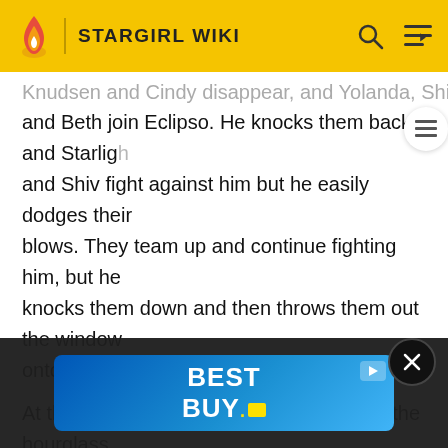STARGIRL WIKI
Knudsen and Cindy disappear, and Yolanda, Shiv, Mcintosh, and Beth join Eclipso. He knocks them back, and Stargirl and Shiv fight against him but he easily dodges their blows. They team up and continue fighting him, but he knocks them down and then throws them out the window onto the lawn below.
At the garage, Rick goes back to work on the hourglass, but it doesn't work. Rick grabs the duffle bag with his costume and goes to fight. Mike and Jakeem play cards while they wait, and Zeek tells them that no junkyards are open and he can't find the part to fix STRIPE that night.
Mike figures Pat knew, and Jakeem tells Mike that Pat was trying t
[Figure (screenshot): Best Buy advertisement banner with blue gradient background and white bold text reading BEST BUY with yellow dot, plus a play icon in top right corner]
Thy Th...